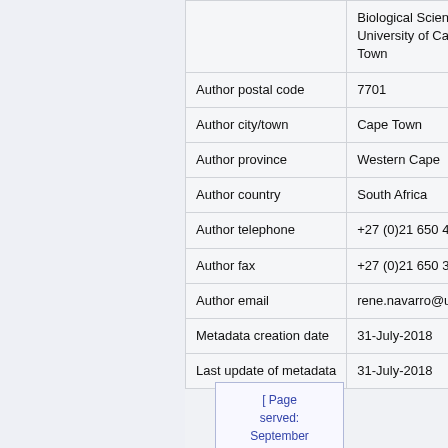| Field | Value |
| --- | --- |
|  | Biological Science, University of Cape Town |
| Author postal code | 7701 |
| Author city/town | Cape Town |
| Author province | Western Cape |
| Author country | South Africa |
| Author telephone | +27 (0)21 650 4751 |
| Author fax | +27 (0)21 650 3301 |
| Author email | rene.navarro@uct.ac |
| Metadata creation date | 31-July-2018 |
| Last update of metadata | 31-July-2018 |
[ Page served: September 5, 2022, 09:56 +0200]